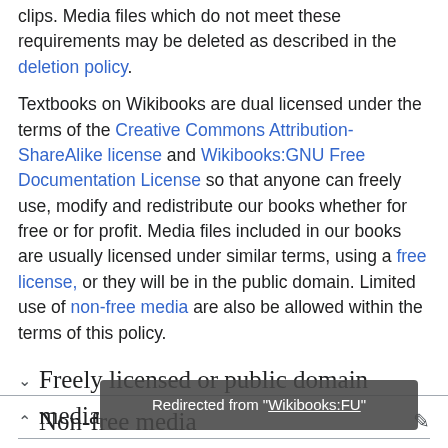clips. Media files which do not meet these requirements may be deleted as described in the deletion policy.
Textbooks on Wikibooks are dual licensed under the terms of the Creative Commons Attribution-ShareAlike license and Wikibooks:GNU Free Documentation License so that anyone can freely use, modify and redistribute our books whether for free or for profit. Media files included in our books are usually licensed under similar terms, using a free license, or they will be in the public domain. Limited use of non-free media are also be allowed within the terms of this policy.
Freely licensed or public domain media
Non-free media
Redirected from "Wikibooks:FU"